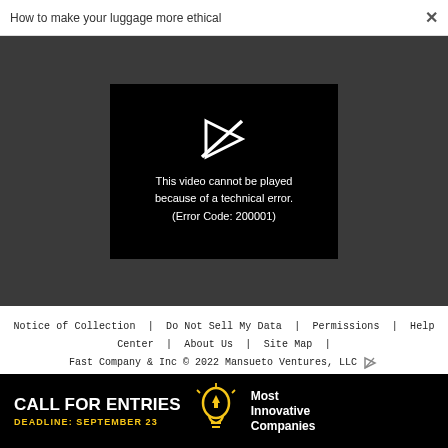How to make your luggage more ethical   ×
[Figure (screenshot): Video player showing error message on dark background. White broken play button icon above text reading: This video cannot be played because of a technical error. (Error Code: 200001)]
Notice of Collection  |  Do Not Sell My Data  |  Permissions  |  Help Center  |  About Us  |  Site Map  |  Fast Company & Inc © 2022 Mansueto Ventures, LLC
[Figure (illustration): Advertisement banner: CALL FOR ENTRIES DEADLINE: SEPTEMBER 23  [lightbulb icon]  Most Innovative Companies]